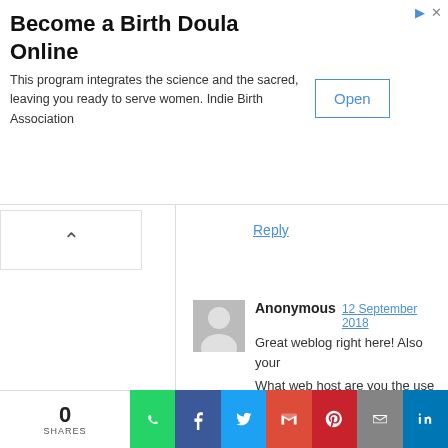[Figure (screenshot): Advertisement banner: Become a Birth Doula Online with Open button]
Become a Birth Doula Online
This program integrates the science and the sacred, leaving you ready to serve women. Indie Birth Association
Reply
Anonymous  12 September 2018
Great weblog right here! Also your
What web host are you the use of? on your host? I wish my web site lo
Reply
Anonymous  13 September 2018
After checking out a number o appreciate your technique of blogging. I book-marked it to my bo checking back soon. Take a look a feel.
Reply
0
SHARES